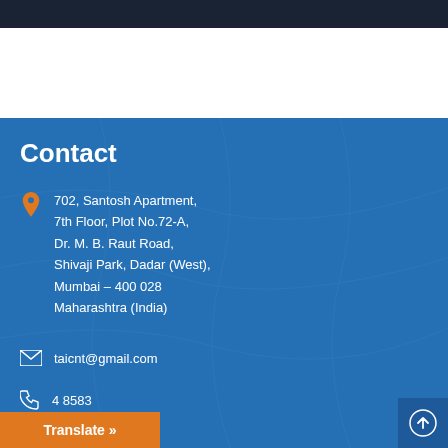Contact
702, Santosh Apartment,
7th Floor, Plot No.72-A,
Dr. M. B. Raut Road,
Shivaji Park, Dadar (West),
Mumbai – 400 028
Maharashtra (India)
taicnt@gmail.com
8583
Translate »